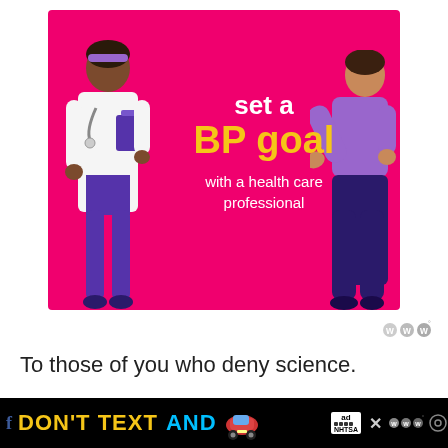[Figure (illustration): Health promotion graphic on a hot pink/magenta background showing a doctor in white coat on the left holding a clipboard, and a patient in a purple top and dark purple pants on the right. Text overlay reads 'set a BP goal with a health care professional' in white and yellow bold text.]
To those of you who deny science.
To those of you who think their 45...
[Figure (screenshot): Bottom advertisement banner: 'DON'T TEXT AND' with a car emoji, ad choice icon, NHTSA logo, close button, and Waze-like logo icons. Black background with yellow and cyan text.]